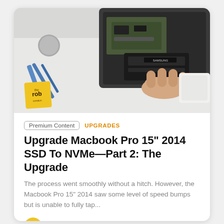[Figure (photo): A hand holding an NVMe SSD being installed into a Macbook Pro, with screwdrivers and tools visible on a white surface. A yellow 'the rob' logo badge is in the lower left.]
Premium Content   UPGRADES
Upgrade Macbook Pro 15" 2014 SSD To NVMe—Part 2: The Upgrade
The process went smoothly without a hitch. However, the Macbook Pro 15" 2014 saw some level of speed bumps but is unable to fully tap...
Robert Chai